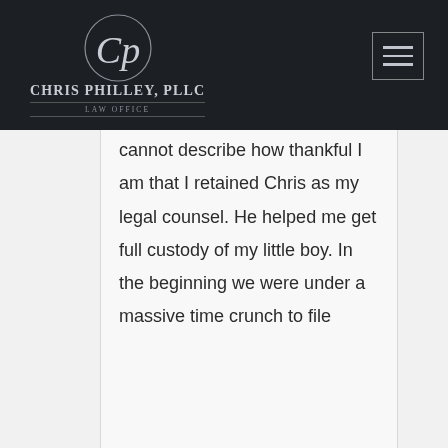[Figure (logo): Chris Philley, PLLC Law Office logo with stylized CP monogram in a circle on dark background]
cannot describe how thankful I am that I retained Chris as my legal counsel. He helped me get full custody of my little boy. In the beginning we were under a massive time crunch to file